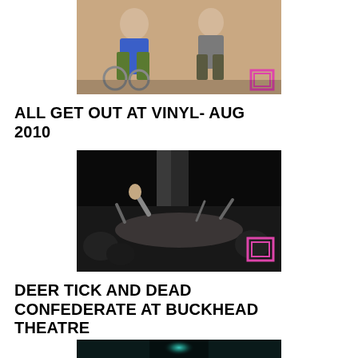[Figure (photo): Color photo of two people on a stage with props, one in a blue shirt and one in a gray jacket, with colorful stage elements visible.]
ALL GET OUT AT VINYL- AUG 2010
[Figure (photo): Black and white photo of a concert crowd scene, someone lying on stage with hands reaching up, dark moody lighting.]
DEER TICK AND DEAD CONFEDERATE AT BUCKHEAD THEATRE
[Figure (photo): Dark photo with a teal/green glowing light in the center, stage lighting at a concert venue.]